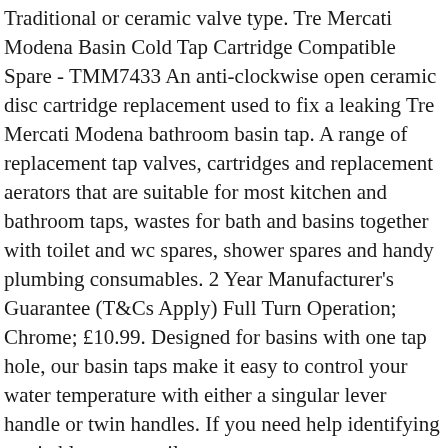Traditional or ceramic valve type. Tre Mercati Modena Basin Cold Tap Cartridge Compatible Spare - TMM7433 An anti-clockwise open ceramic disc cartridge replacement used to fix a leaking Tre Mercati Modena bathroom basin tap. A range of replacement tap valves, cartridges and replacement aerators that are suitable for most kitchen and bathroom taps, wastes for bath and basins together with toilet and wc spares, shower spares and handy plumbing consumables. 2 Year Manufacturer's Guarantee (T&Cs Apply) Full Turn Operation; Chrome; £10.99. Designed for basins with one tap hole, our basin taps make it easy to control your water temperature with either a singular lever handle or twin handles. If you need help identifying a suitable part, email sales@bathroomspareparts.co.uk or call for a prompt response. £17.24. If your tap is dripping from the end of its spout, it's likely it requires replacement valves/cartridges. Remove the cartridge from the tap. Tre Mercati Modena Deck Mounted Bath Filler Tap 95030 Spare Parts. A drip from the base of your tap's